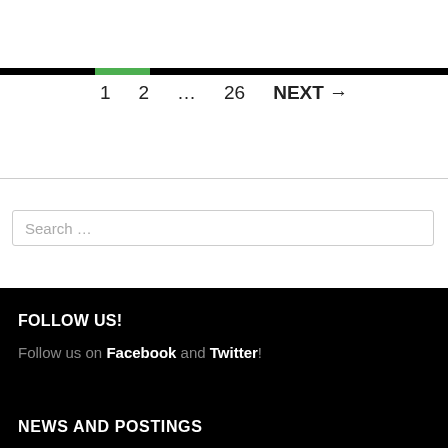1  2  ...  26  NEXT →
Search …
FOLLOW US!
Follow us on Facebook and Twitter!
NEWS AND POSTINGS